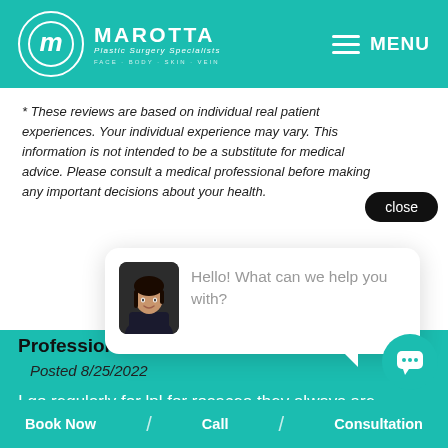[Figure (logo): Marotta Plastic Surgery Specialists logo — white circle with stylized M, white text on teal background, with hamburger menu icon and MENU label]
* These reviews are based on individual real patient experiences. Your individual experience may vary. This information is not intended to be a substitute for medical advice. Please consult a medical professional before making any important decisions about your health.
[Figure (screenshot): Chat popup with avatar photo of a woman in black scrubs and text 'Hello! What can we help you with?']
Professional
Posted 8/25/2022
I go regularly for lpl for rosacea they always are professional and do a great job
Book Now / Call / Consultation